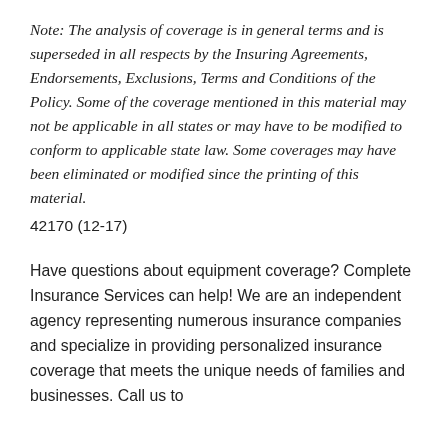Note: The analysis of coverage is in general terms and is superseded in all respects by the Insuring Agreements, Endorsements, Exclusions, Terms and Conditions of the Policy. Some of the coverage mentioned in this material may not be applicable in all states or may have to be modified to conform to applicable state law. Some coverages may have been eliminated or modified since the printing of this material.
42170 (12-17)
Have questions about equipment coverage? Complete Insurance Services can help! We are an independent agency representing numerous insurance companies and specialize in providing personalized insurance coverage that meets the unique needs of families and businesses. Call us to